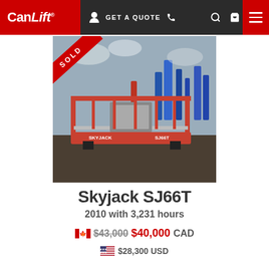CanLift | GET A QUOTE
[Figure (photo): Photo of a red Skyjack SJ66T boom lift on a dirt lot with other lifts in the background. A red SOLD ribbon is in the top-left corner of the image.]
Skyjack SJ66T
2010 with 3,231 hours
$43,000 $40,000 CAD
$28,300 USD